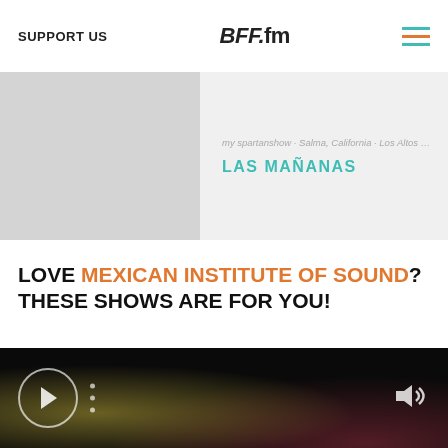SUPPORT US | BFF.fm
my spartanshow · Salma, California · Los Altos Com...
LAS MAÑANAS
LOVE MEXICAN INSTITUTE OF SOUND? THESE SHOWS ARE FOR YOU!
[Figure (photo): Record turntable on white/grey background]
[Figure (photo): Las Mañanas with Seb show artwork on orange background with dog, FRIDAYS text]